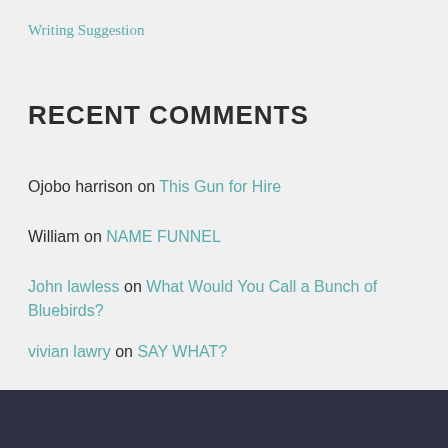Writing Suggestion
RECENT COMMENTS
Ojobo harrison on This Gun for Hire
William on NAME FUNNEL
John lawless on What Would You Call a Bunch of Bluebirds?
vivian lawry on SAY WHAT?
William on SAY WHAT?
Copyright © 2022 Vivian Lawry